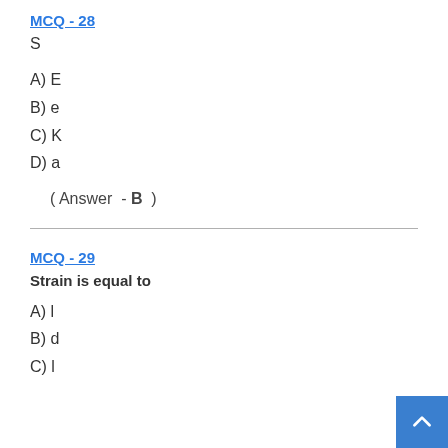MCQ - 28
S
A) E
B) e
C) K
D) a
( Answer  - B  )
MCQ - 29
Strain is equal to
A) l
B) d
C) l